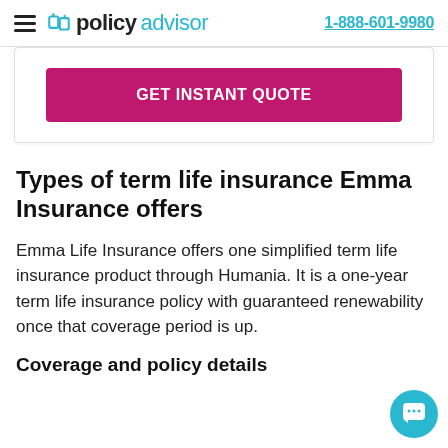policyadvisor | 1-888-601-9980
[Figure (other): GET INSTANT QUOTE button card]
Types of term life insurance Emma Insurance offers
Emma Life Insurance offers one simplified term life insurance product through Humania. It is a one-year term life insurance policy with guaranteed renewability once that coverage period is up.
Coverage and policy details